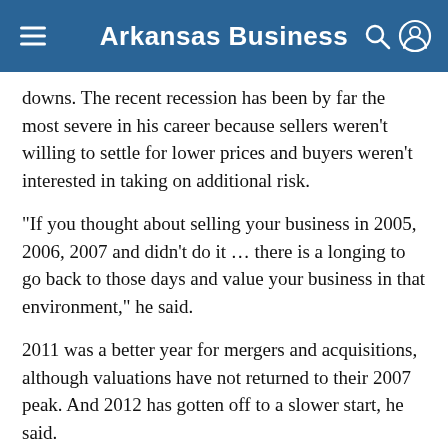Arkansas Business
downs. The recent recession has been by far the most severe in his career because sellers weren't willing to settle for lower prices and buyers weren't interested in taking on additional risk.
“If you thought about selling your business in 2005, 2006, 2007 and didn’t do it … there is a longing to go back to those days and value your business in that environment,” he said.
2011 was a better year for mergers and acquisitions, although valuations have not returned to their 2007 peak. And 2012 has gotten off to a slower start, he said.
Outside the office, McKissack serves as chairman of Soaring Wings Ranch, a Christian residential program for children near McKissack’s hometown of Vilonia (Faulkner County). He is also active in